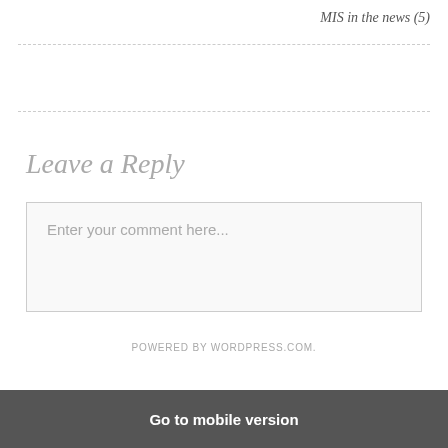MIS in the news (5)
Leave a Reply
Enter your comment here...
POWERED BY WORDPRESS.COM.
Go to mobile version